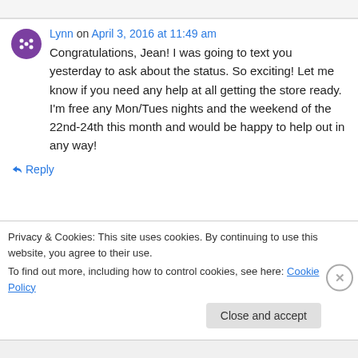Lynn on April 3, 2016 at 11:49 am
Congratulations, Jean! I was going to text you yesterday to ask about the status. So exciting! Let me know if you need any help at all getting the store ready. I'm free any Mon/Tues nights and the weekend of the 22nd-24th this month and would be happy to help out in any way!
↳ Reply
Privacy & Cookies: This site uses cookies. By continuing to use this website, you agree to their use. To find out more, including how to control cookies, see here: Cookie Policy
Close and accept